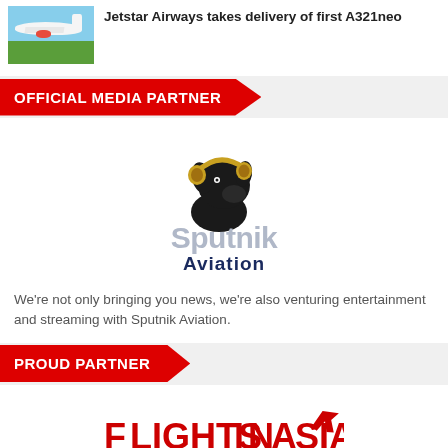[Figure (photo): Jetstar Airways airplane on runway with orange livery]
Jetstar Airways takes delivery of first A321neo
[Figure (logo): Official Media Partner red banner with arrow shape]
[Figure (logo): Sputnik Aviation logo with black labrador dog wearing pilot headset and stylized text]
We’re not only bringing you news, we’re also venturing entertainment and streaming with Sputnik Aviation.
[Figure (logo): Proud Partner red banner with arrow shape]
[Figure (logo): FlightsInAsia logo in red with airplane icon]